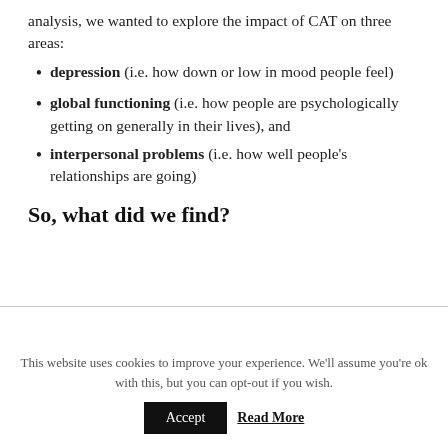analysis, we wanted to explore the impact of CAT on three areas:
depression (i.e. how down or low in mood people feel)
global functioning (i.e. how people are psychologically getting on generally in their lives), and
interpersonal problems (i.e. how well people's relationships are going)
So, what did we find?
This website uses cookies to improve your experience. We'll assume you're ok with this, but you can opt-out if you wish.